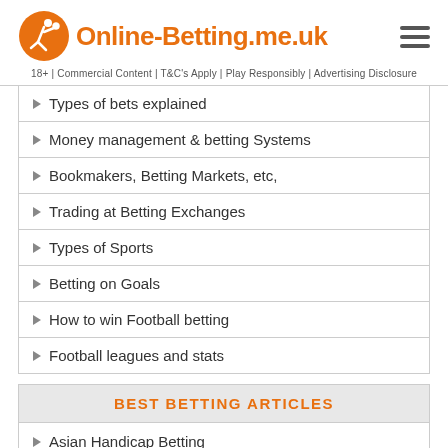Online-Betting.me.uk
18+ | Commercial Content | T&C's Apply | Play Responsibly | Advertising Disclosure
Types of bets explained
Money management & betting Systems
Bookmakers, Betting Markets, etc,
Trading at Betting Exchanges
Types of Sports
Betting on Goals
How to win Football betting
Football leagues and stats
BEST BETTING ARTICLES
Asian Handicap Betting